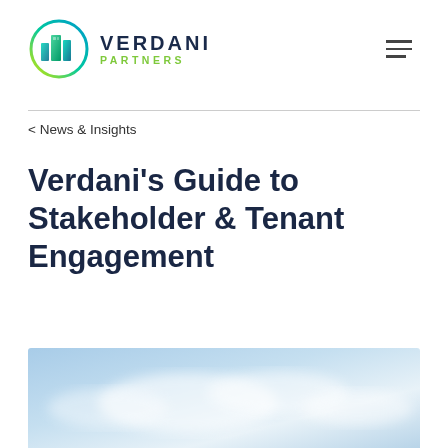VERDANI PARTNERS
< News & Insights
Verdani's Guide to Stakeholder & Tenant Engagement
[Figure (photo): Blurred aerial/sky photograph serving as hero image at the bottom of the page, showing light blue sky with soft white clouds.]